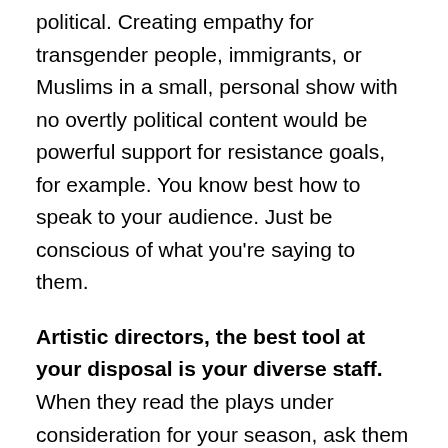political. Creating empathy for transgender people, immigrants, or Muslims in a small, personal show with no overtly political content would be powerful support for resistance goals, for example. You know best how to speak to your audience. Just be conscious of what you're saying to them.
Artistic directors, the best tool at your disposal is your diverse staff. When they read the plays under consideration for your season, ask them to look at messaging and/or political and social content in addition to the usual things you ask them to look at. If you are white, believe people of color on your staff when they tell you a script is racially problematic. If you are male, believe the women on your staff when they tell you a script is misogynistic. If you are able-bodied, straight, or cis, believe the disabled, queer, or transgender people on your